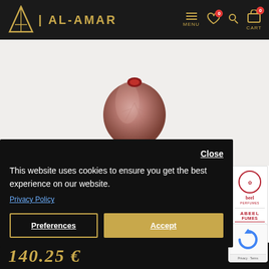[Figure (logo): Al-Amar logo with golden triangle/flame symbol and text AL-AMAR in gold on dark background header]
[Figure (photo): Perfume bottle with copper/rose metallic finish and red gem top, displayed on white/light grey background]
[Figure (infographic): Social share buttons row: Facebook, Twitter, Pinterest, Email, Plus icons in grey rounded squares]
[Figure (screenshot): Cookie consent popup overlay on dark background with Close link, cookie notice text, Privacy Policy link, Preferences and Accept buttons]
[Figure (logo): Nabeel Perfumes brand card on right side showing red circular logo and brand name text]
[Figure (screenshot): Google reCAPTCHA widget with circular arrow logo and Privacy/Terms footer]
140.25 €